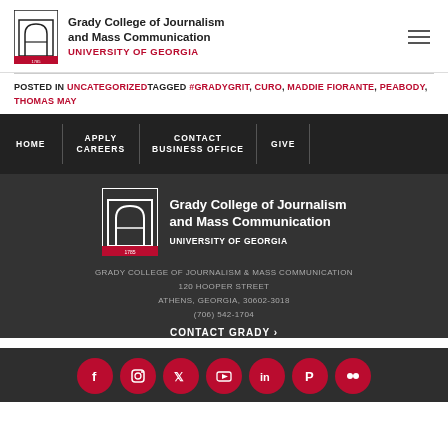Grady College of Journalism and Mass Communication UNIVERSITY OF GEORGIA
POSTED IN UNCATEGORIZED TAGGED #GRADYGRIT, CURO, MADDIE FIORANTE, PEABODY, THOMAS MAY
[Figure (infographic): Navigation bar with dark background containing: HOME, APPLY CAREERS, CONTACT BUSINESS OFFICE, GIVE]
[Figure (logo): Grady College of Journalism and Mass Communication UNIVERSITY OF GEORGIA footer logo on dark background]
GRADY COLLEGE OF JOURNALISM & MASS COMMUNICATION 120 HOOPER STREET ATHENS, GEORGIA, 30602-3018 (706) 542-1704 CONTACT GRADY >
[Figure (infographic): Social media icons row: Facebook, Instagram, Twitter, YouTube, LinkedIn, Pinterest, Flickr — red circles]